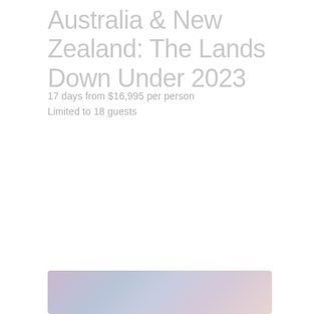Australia & New Zealand: The Lands Down Under 2023
17 days from $16,995 per person
Limited to 18 guests
[Figure (photo): A landscape photo strip showing a scenic view with soft purple, blue and pink gradient tones, partially visible at the bottom of the page.]